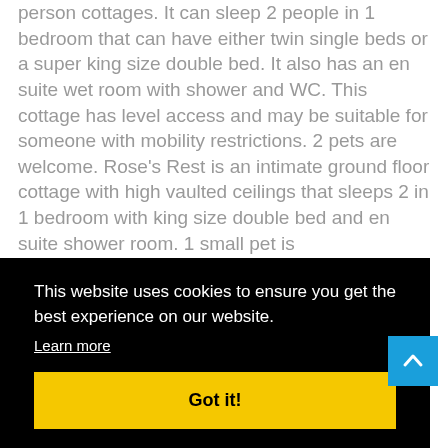person cottages. It can sleep 2 people in 1 bedroom that can have either twin single beds or a super king size double bed. It also has an en suite wet room with shower and WC. This cottage has level access and may be suitable for someone with mobility restrictions. 2 pets are welcome. Rose's Rest is an intimate ground floor cottage with high vaulted ceilings that sleeps 2 in 1 bedroom with king size double bed and en suite shower room. 1 small pet is
[Figure (screenshot): Cookie consent banner with black background. Text reads 'This website uses cookies to ensure you get the best experience on our website.' with a 'Learn more' underlined link and a yellow 'Got it!' button.]
ight
uite a's ra's
guests plus infants in cots. You will find further